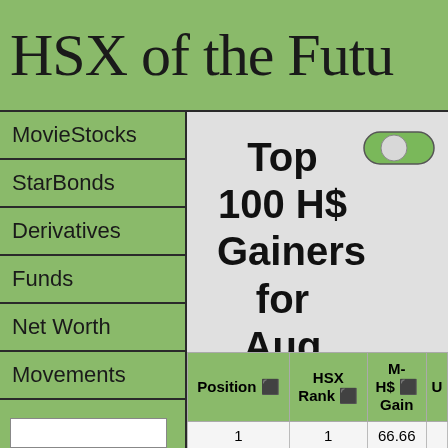HSX of the Futu
MovieStocks
StarBonds
Derivatives
Funds
Net Worth
Movements
Top 100 H$ Gainers for Aug 20, 2014
| Position | HSX Rank | M-H$ Gain | U |
| --- | --- | --- | --- |
| 1 | 1 | 66.66 |  |